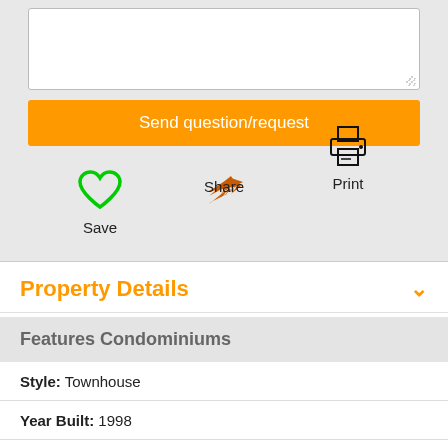[Figure (screenshot): Textarea input box for question/request]
Send question/request
[Figure (infographic): Save (green heart icon), Share (orange arrow icon), Print (printer icon) action buttons]
Property Details
Features Condominiums
Style:  Townhouse
Year Built:  1998
Building Project Name:  Enterprise Condos